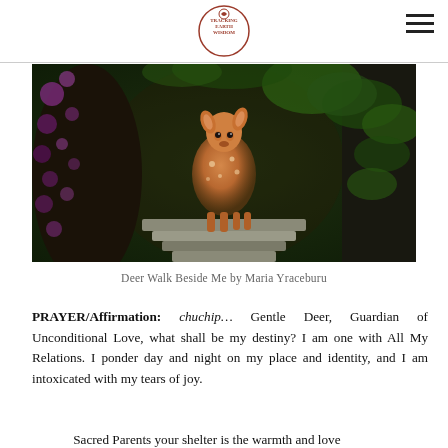Tracking Earth Wisdom [logo]
[Figure (photo): A young spotted fawn standing on stone steps in a lush, dark forest tunnel with purple flowering vines on the left and green ivy on the right. The fawn is centered, looking toward the viewer. The setting is magical and enchanted.]
Deer Walk Beside Me by Maria Yraceburu
PRAYER/Affirmation: chuchip... Gentle Deer, Guardian of Unconditional Love, what shall be my destiny? I am one with All My Relations. I ponder day and night on my place and identity, and I am intoxicated with my tears of joy.
Sacred Parents your shelter is the warmth and love